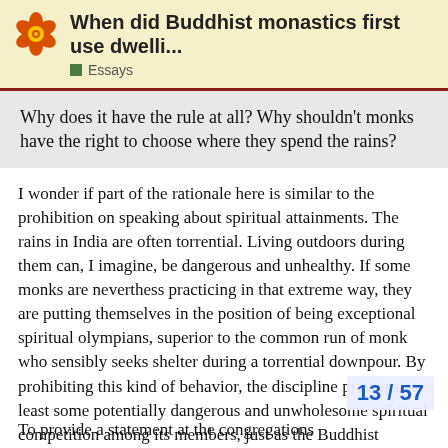When did Buddhist monastics first use dwelli... Essays
Why does it have the rule at all? Why shouldn't monks have the right to choose where they spend the rains?
I wonder if part of the rationale here is similar to the prohibition on speaking about spiritual attainments. The rains in India are often torrential. Living outdoors during them can, I imagine, be dangerous and unhealthy. If some monks are neverthess practicing in that extreme way, they are putting themselves in the position of being exceptional spiritual olympians, superior to the common run of monk who sensibly seeks shelter during a torrential downpour. By prohibiting this kind of behavior, the discipline prevents at least some potentially dangerous and unwholesome spiritual competition among its members, just as the Buddhist middle way foregoes other kinds of the most ext
13 / 57
To provide a statement at the congregations